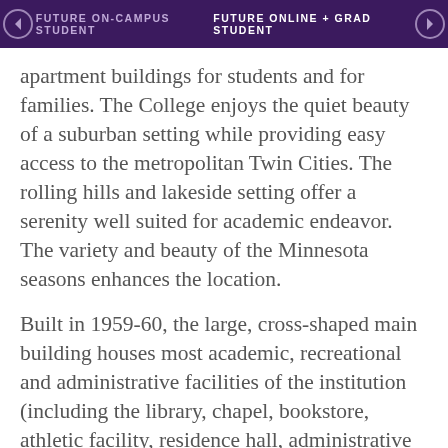FUTURE ON-CAMPUS STUDENT | FUTURE ONLINE + GRAD STUDENT
apartment buildings for students and for families. The College enjoys the quiet beauty of a suburban setting while providing easy access to the metropolitan Twin Cities. The rolling hills and lakeside setting offer a serenity well suited for academic endeavor. The variety and beauty of the Minnesota seasons enhances the location.
Built in 1959-60, the large, cross-shaped main building houses most academic, recreational and administrative facilities of the institution (including the library, chapel, bookstore, athletic facility, residence hall, administrative offices, dining facilities, Life Fitness Center, Simpson Auditorium and classrooms).